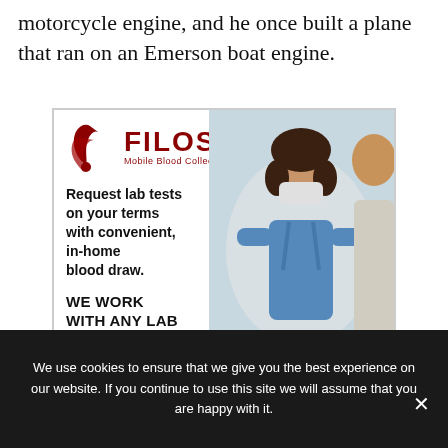first flight was on an air planes that had a motorcycle engine, and he once built a plane that ran on an Emerson boat engine.
[Figure (illustration): FILOS Mobile Blood Collection advertisement. Shows logo with red feather/wing icon and 'FILOS' text in dark red. Left side text reads: 'Request lab tests on your terms with convenient, in-home blood draw.' and 'WE WORK WITH ANY LAB OR ANY DOCTOR.' Right side shows photo of nurse in blue scrubs and mask with a patient. Red button reads 'LEARN MORE ONLY $60'.]
We use cookies to ensure that we give you the best experience on our website. If you continue to use this site we will assume that you are happy with it.